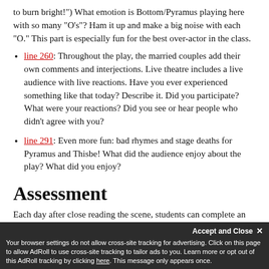to burn bright!") What emotion is Bottom/Pyramus playing here with so many "O's"? Ham it up and make a big noise with each "O." This part is especially fun for the best over-actor in the class.
line 260: Throughout the play, the married couples add their own comments and interjections. Live theatre includes a live audience with live reactions. Have you ever experienced something like that today? Describe it. Did you participate? What were your reactions? Did you see or hear people who didn't agree with you?
line 291: Even more fun: bad rhymes and stage deaths for Pyramus and Thisbe! What did the audience enjoy about the play? What did you enjoy?
Assessment
Each day after close reading the scene, students can complete an exit ticket with the following questions:
1. What three things did you learn today that were essential to your understanding of the scene?
Your browser settings do not allow cross-site tracking for advertising. Click on this page to allow AdRoll to use cross-site tracking to tailor ads to you. Learn more or opt out of this AdRoll tracking by clicking here. This message only appears once.